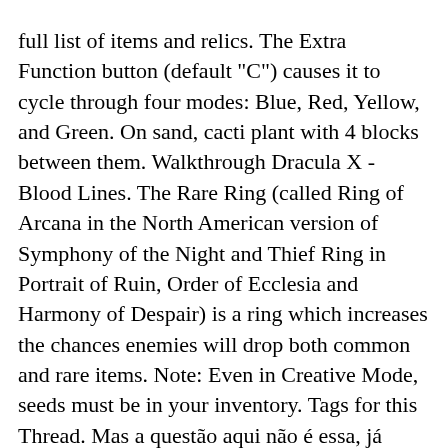full list of items and relics. The Extra Function button (default "C") causes it to cycle through four modes: Blue, Red, Yellow, and Green. On sand, cacti plant with 4 blocks between them. Walkthrough Dracula X - Blood Lines. The Rare Ring (called Ring of Arcana in the North American version of Symphony of the Night and Thief Ring in Portrait of Ruin, Order of Ecclesia and Harmony of Despair) is a ring which increases the chances enemies will drop both common and rare items. Note: Even in Creative Mode, seeds must be in your inventory. Tags for this Thread. Mas a questão aqui não é essa, já percebeu que o inimigo que deixa a espada não tem NADA a ver com o item? CastleVania Sotn part 37 2nd ring of arcana - Duration: 14:31. Items. The massive castle Alucard must explore in